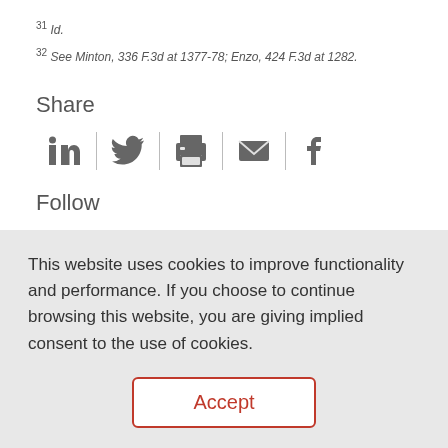31 Id.
32 See Minton, 336 F.3d at 1377-78; Enzo, 424 F.3d at 1282.
Share
[Figure (other): Social share icons: LinkedIn, Twitter, Print, Email, Facebook]
Follow
[Figure (other): Social follow icons: LinkedIn, Twitter, YouTube, Facebook, Instagram]
This website uses cookies to improve functionality and performance. If you choose to continue browsing this website, you are giving implied consent to the use of cookies.
Accept